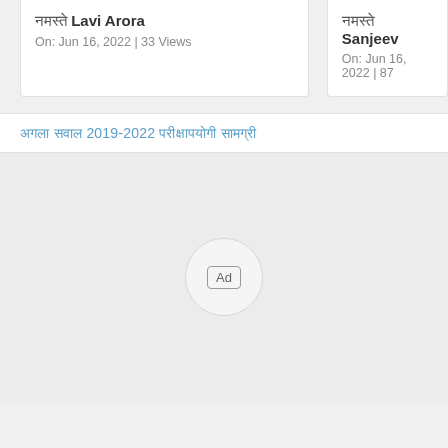नमस्ते Lavi Arora
On: Jun 16, 2022 | 33 Views
नमस्ते Sanjeev
On: Jun 16, 2022 | 87
अगला सवाल 2019-2022 परीक्षापयोगी सामग्री
[Figure (other): Ad placeholder circle with 'Ad' label in center]